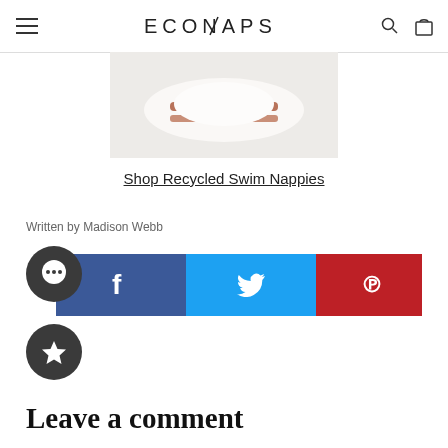ECONAPS
[Figure (photo): Product photo of a recycled swim nappy on a white/grey background, showing a white nappy with brown/rust colored stripes or tabs.]
Shop Recycled Swim Nappies
Written by Madison Webb
[Figure (infographic): Social media share bar with Facebook (blue), Twitter (cyan), and Pinterest (red) share buttons, with a circular dark icon showing ellipsis (comment) and a circular dark icon with a star (favourite).]
Leave a comment